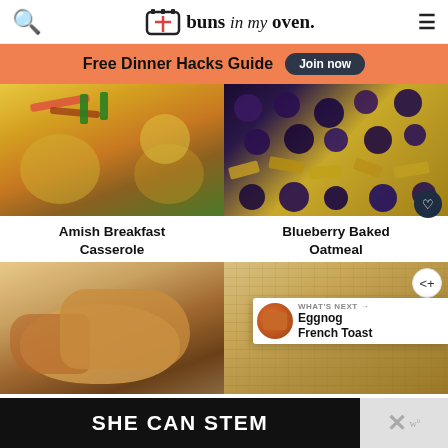buns in my oven.
Free Dinner Hacks Guide  Join now
[Figure (photo): Amish Breakfast Casserole - scrambled eggs with bacon and chives on a plate]
Amish Breakfast Casserole
[Figure (photo): Blueberry Baked Oatmeal - close up of blueberries and oats]
Blueberry Baked Oatmeal
[Figure (photo): Bread roll being held by hand]
[Figure (photo): Oatmeal or crumble dish with WHAT'S NEXT Eggnog French Toast overlay]
WHAT'S NEXT → Eggnog French Toast
SHE CAN STEM